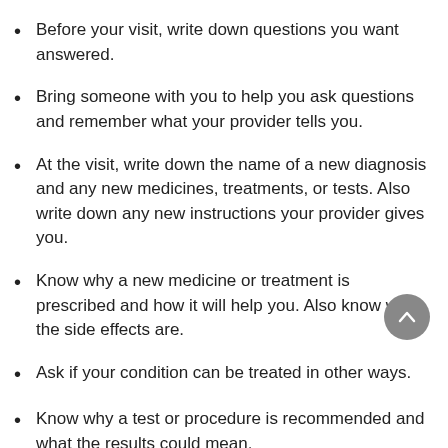Before your visit, write down questions you want answered.
Bring someone with you to help you ask questions and remember what your provider tells you.
At the visit, write down the name of a new diagnosis and any new medicines, treatments, or tests. Also write down any new instructions your provider gives you.
Know why a new medicine or treatment is prescribed and how it will help you. Also know what the side effects are.
Ask if your condition can be treated in other ways.
Know why a test or procedure is recommended and what the results could mean.
Know what to expect if you do not take the medicine or have the test or procedure.
If you have a follow-up appointment, write down the